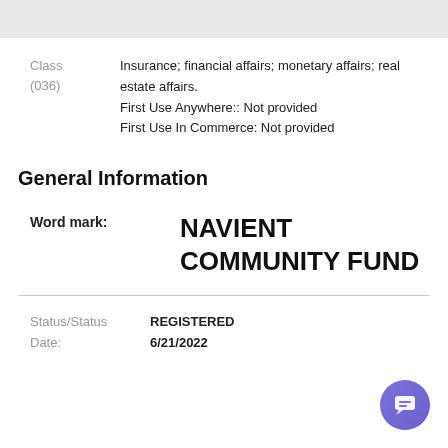Class (036)
Insurance; financial affairs; monetary affairs; real estate affairs.
First Use Anywhere:: Not provided
First Use In Commerce: Not provided
General Information
Word mark: NAVIENT COMMUNITY FUND
Status/Status Date:
REGISTERED
6/21/2022